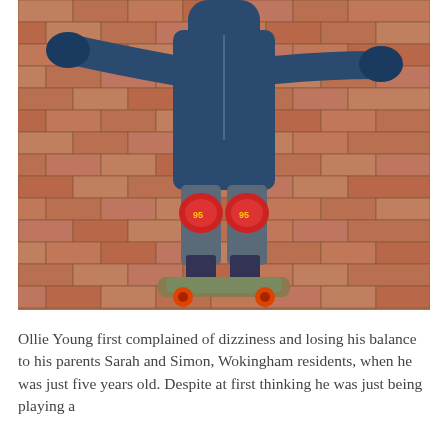[Figure (photo): A young child wearing a blue winter jacket, blue gloves, jeans, and red knee pads (Cars/Lightning McQueen themed) standing on a skateboard on a brick paved surface with arms outstretched for balance.]
Ollie Young first complained of dizziness and losing his balance to his parents Sarah and Simon, Wokingham residents, when he was just five years old. Despite at first thinking he was just being playing a